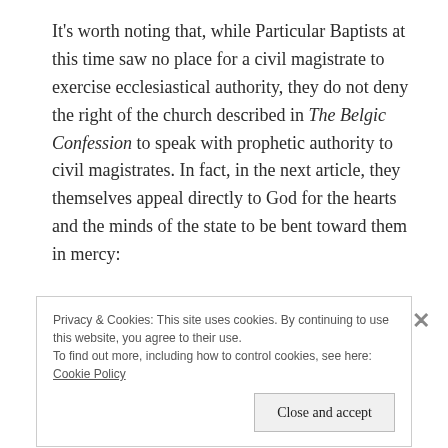It’s worth noting that, while Particular Baptists at this time saw no place for a civil magistrate to exercise ecclesiastical authority, they do not deny the right of the church described in The Belgic Confession to speak with prophetic authority to civil magistrates. In fact, in the next article, they themselves appeal directly to God for the hearts and the minds of the state to be bent toward them in mercy:
“And if God should provide such a mercy for us, as to incline the Magistrates’ hearts so far to tender
Privacy & Cookies: This site uses cookies. By continuing to use this website, you agree to their use.
To find out more, including how to control cookies, see here: Cookie Policy
Close and accept
BRIGHT TREE ad